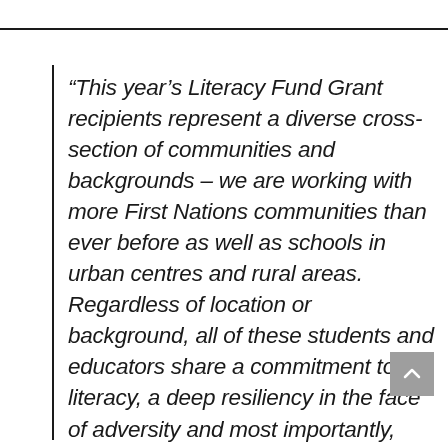“This year’s Literacy Fund Grant recipients represent a diverse cross-section of communities and backgrounds – we are working with more First Nations communities than ever before as well as schools in urban centres and rural areas. Regardless of location or background, all of these students and educators share a commitment to literacy, a deep resiliency in the face of adversity and most importantly, unlimited